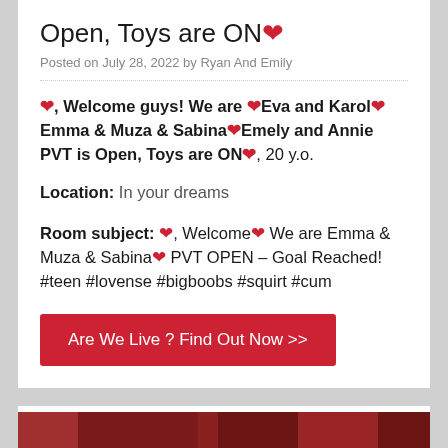Open, Toys are ON❤
Posted on July 28, 2022 by Ryan And Emily
❤, Welcome guys! We are ❤Eva and Karol❤ Emma & Muza & Sabina❤Emely and Annie PVT is Open, Toys are ON❤, 20 y.o.
Location: In your dreams
Room subject: ❤, Welcome❤ We are Emma & Muza & Sabina❤ PVT OPEN – Goal Reached! #teen #lovense #bigboobs #squirt #cum
Are We Live ? Find Out Now >>
[Figure (photo): Partial image strip at bottom of page, reddish/dark tones]